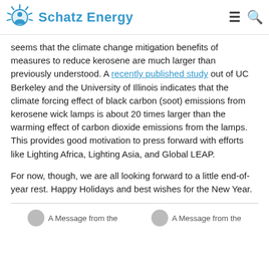Schatz Energy
seems that the climate change mitigation benefits of measures to reduce kerosene are much larger than previously understood. A recently published study out of UC Berkeley and the University of Illinois indicates that the climate forcing effect of black carbon (soot) emissions from kerosene wick lamps is about 20 times larger than the warming effect of carbon dioxide emissions from the lamps. This provides good motivation to press forward with efforts like Lighting Africa, Lighting Asia, and Global LEAP.
For now, though, we are all looking forward to a little end-of-year rest. Happy Holidays and best wishes for the New Year.